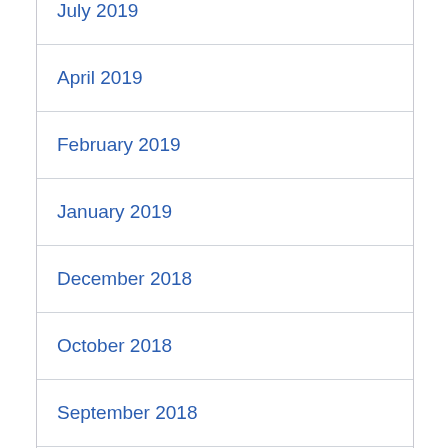July 2019
April 2019
February 2019
January 2019
December 2018
October 2018
September 2018
August 2018